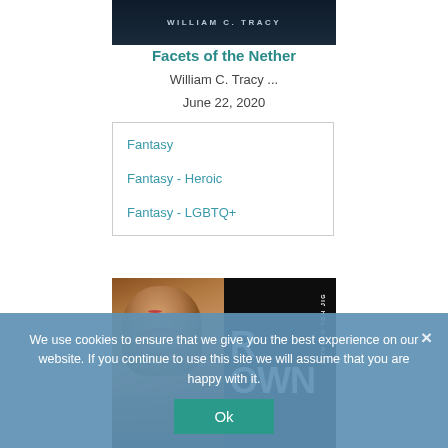[Figure (photo): Book cover top portion for 'Facets of the Nether' by William C. Tracy, dark blue/navy background with author name]
Facets of the Nether
William C. Tracy ...
June 22, 2020
Fantasy
Fantasy - Heroic
Fantasy - LGBTQ+
[Figure (photo): Book cover showing abstract painted face on left half and dark/black right half with large text 'R OWN' and vertical text 'A THUNG TOH JIG']
We use cookies to ensure that we give you the best experience on our website. If you continue to use this site we will assume that you are happy with it.
Ok